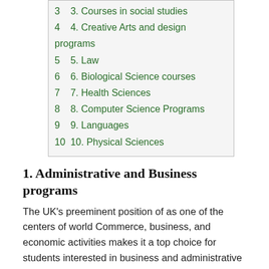3 3. Courses in social studies
4 4. Creative Arts and design programs
5 5. Law
6 6. Biological Science courses
7 7. Health Sciences
8 8. Computer Science Programs
9 9. Languages
10 10. Physical Sciences
1. Administrative and Business programs
The UK's preeminent position of as one of the centers of world Commerce, business, and economic activities makes it a top choice for students interested in business and administrative courses.
The numbers speak for themselves. There are currently almost 60,000 foreign students studying business-related courses in the UK.
2. Engineering and Technology programs